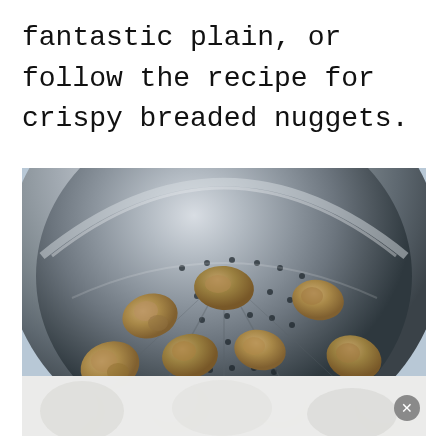fantastic plain, or follow the recipe for crispy breaded nuggets.
[Figure (photo): Overhead view of a stainless steel steamer basket/colander with small holes, containing approximately 10-12 golden-brown breaded nuggets arranged across the perforated surface. The background is light blue.]